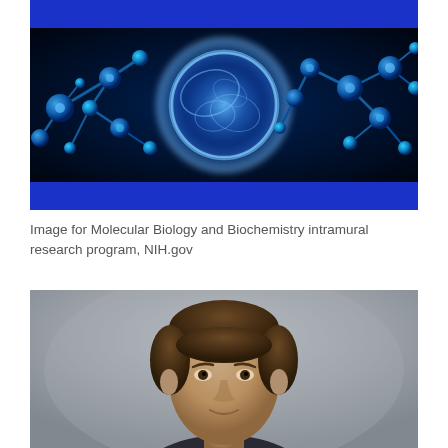[Figure (photo): Banner image showing blue molecular biology illustration with a glowing blue cell in the center surrounded by molecular structures on a dark background, with blue bars above and below]
Image for Molecular Biology and Biochemistry intramural research program, NIH.gov
[Figure (photo): Portrait photo of a person (man with brown hair) against a gray background, cropped to show head and upper body]